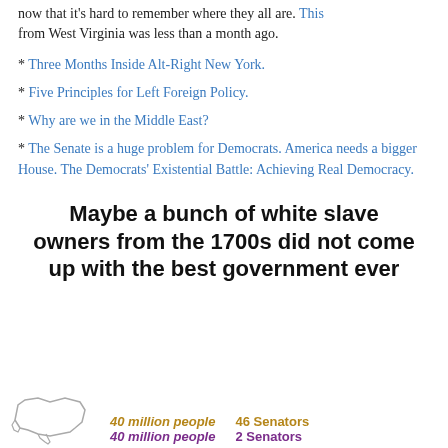now that it's hard to remember where they all are. This from West Virginia was less than a month ago.
* Three Months Inside Alt-Right New York.
* Five Principles for Left Foreign Policy.
* Why are we in the Middle East?
* The Senate is a huge problem for Democrats. America needs a bigger House. The Democrats' Existential Battle: Achieving Real Democracy.
Maybe a bunch of white slave owners from the 1700s did not come up with the best government ever
[Figure (infographic): Infographic showing map outline with statistics: 40 million people / 46 Senators and 40 million people / 2 Senators]